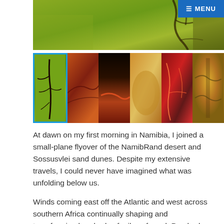[Figure (photo): Aerial photo of NamibRand desert landscape with green and brown tones, showing a banner image at top and 6 thumbnail photos below showing desert dunes, riverbeds, and sand formations from above.]
At dawn on my first morning in Namibia, I joined a small-plane flyover of the NamibRand desert and Sossusvlei sand dunes. Despite my extensive travels, I could never have imagined what was unfolding below us.
Winds coming east off the Atlantic and west across southern Africa continually shaping and transforming hundreds of miles of sand. Parched riverbeds like the life lines of your hand. Dunes hundreds of feet high rippling along for miles, their colors changing from bluish grey and pinkish blue, to soft yellow, and then to oranges and reds and rich purples. Knife-edged dunes slashing this way and that, exploding with light on one slope, black and featureless on the far side, untouched by the still-low sun. Bowls sculpted over years of shallow puddles and the mad